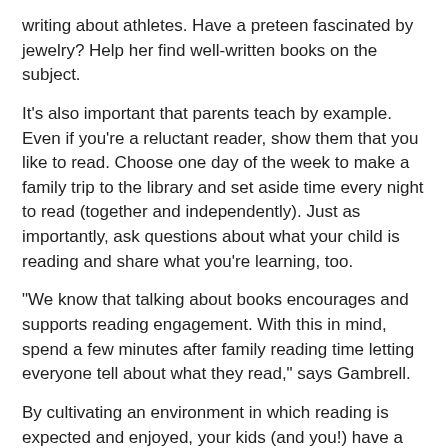writing about athletes. Have a preteen fascinated by jewelry? Help her find well-written books on the subject.
It’s also important that parents teach by example. Even if you’re a reluctant reader, show them that you like to read. Choose one day of the week to make a family trip to the library and set aside time every night to read (together and independently). Just as importantly, ask questions about what your child is reading and share what you’re learning, too.
“We know that talking about books encourages and supports reading engagement. With this in mind, spend a few minutes after family reading time letting everyone tell about what they read,” says Gambrell.
By cultivating an environment in which reading is expected and enjoyed, your kids (and you!) have a great summer of literary entertainment ahead.
Need help getting started with a summer reading list? Here’s some top picks from the International Reading Association and the Children’s Book Council.
Grades K-2